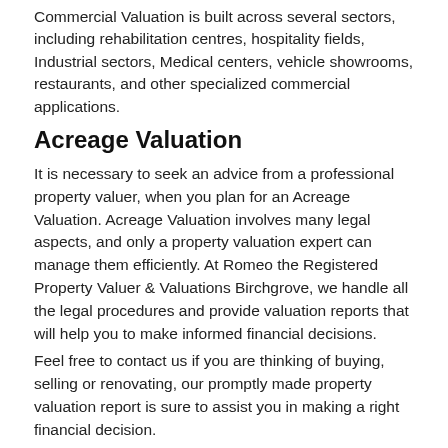Commercial Valuation is built across several sectors, including rehabilitation centres, hospitality fields, Industrial sectors, Medical centers, vehicle showrooms, restaurants, and other specialized commercial applications.
Acreage Valuation
It is necessary to seek an advice from a professional property valuer, when you plan for an Acreage Valuation. Acreage Valuation involves many legal aspects, and only a property valuation expert can manage them efficiently. At Romeo the Registered Property Valuer & Valuations Birchgrove, we handle all the legal procedures and provide valuation reports that will help you to make informed financial decisions.
Feel free to contact us if you are thinking of buying, selling or renovating, our promptly made property valuation report is sure to assist you in making a right financial decision.
[Figure (other): Social media icons: Facebook, Twitter, Pinterest, LinkedIn]